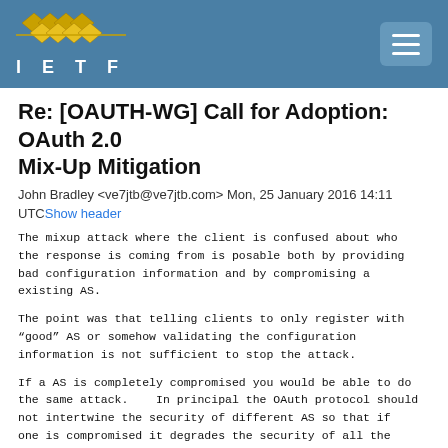IETF
Re: [OAUTH-WG] Call for Adoption: OAuth 2.0 Mix-Up Mitigation
John Bradley <ve7jtb@ve7jtb.com> Mon, 25 January 2016 14:11 UTCShow header
The mixup attack where the client is confused about who the response is coming from is posable both by providing bad configuration information and by compromising a existing AS.
The point was that telling clients to only register with “good” AS or somehow validating the configuration information is not sufficient to stop the attack.
If a AS is completely compromised you would be able to do the same attack.   In principal the OAuth protocol should not intertwine the security of different AS so that if one is compromised it degrades the security of all the others.
You are correct that in the compromised log flow the RS would not be able to leak the token unless it is